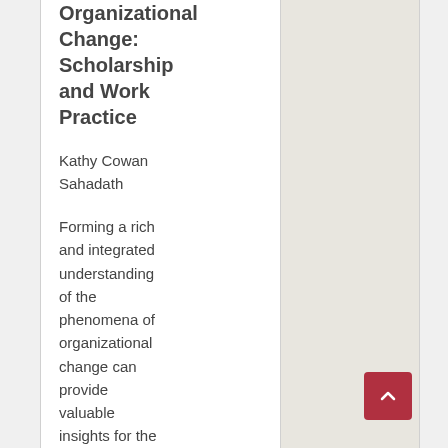Organizational Change: Scholarship and Work Practice
Kathy Cowan Sahadath
Forming a rich and integrated understanding of the phenomena of organizational change can provide valuable insights for the